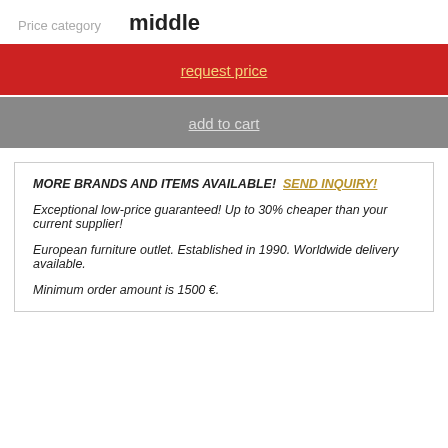Price category   middle
request price
add to cart
MORE BRANDS AND ITEMS AVAILABLE!  SEND INQUIRY!
Exceptional low-price guaranteed! Up to 30% cheaper than your current supplier!
European furniture outlet. Established in 1990. Worldwide delivery available.
Minimum order amount is 1500 €.